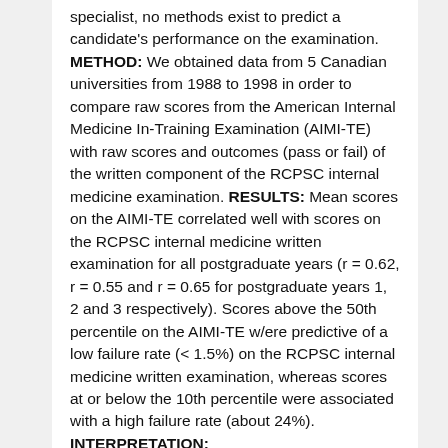specialist, no methods exist to predict a candidate's performance on the examination. METHOD: We obtained data from 5 Canadian universities from 1988 to 1998 in order to compare raw scores from the American Internal Medicine In-Training Examination (AIMI-TE) with raw scores and outcomes (pass or fail) of the written component of the RCPSC internal medicine examination. RESULTS: Mean scores on the AIMI-TE correlated well with scores on the RCPSC internal medicine written examination for all postgraduate years (r = 0.62, r = 0.55 and r = 0.65 for postgraduate years 1, 2 and 3 respectively). Scores above the 50th percentile on the AIMI-TE w/ere predictive of a low failure rate (< 1.5%) on the RCPSC internal medicine written examination, whereas scores at or below the 10th percentile were associated with a high failure rate (about 24%). INTERPRETATION: Candidates who are eligible to take the...